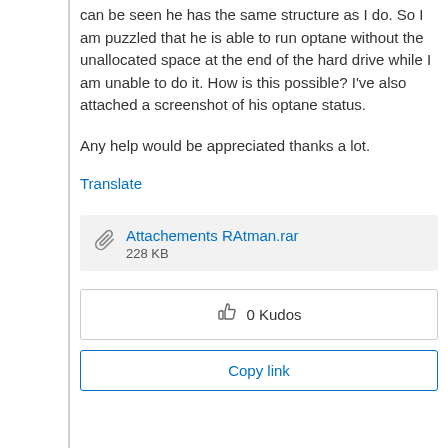can be seen he has the same structure as I do. So I am puzzled that he is able to run optane without the unallocated space at the end of the hard drive while I am unable to do it. How is this possible? I've also attached a screenshot of his optane status.
Any help would be appreciated thanks a lot.
Translate
Attachements RAtman.rar
228 KB
0 Kudos
Copy link